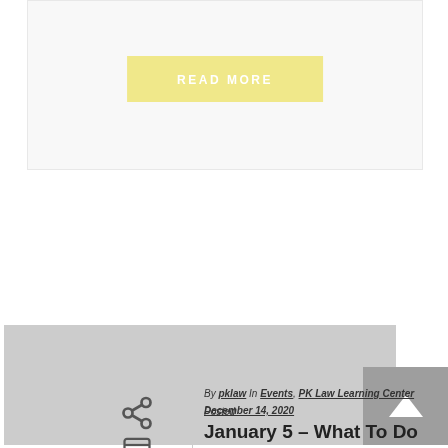[Figure (other): Light gray card with a yellow READ MORE button centered on it]
[Figure (photo): Large gray placeholder image area for a blog post]
By pklaw  In Events, PK Law Learning Center  Posted December 14, 2020
January 5 – What To Do When A